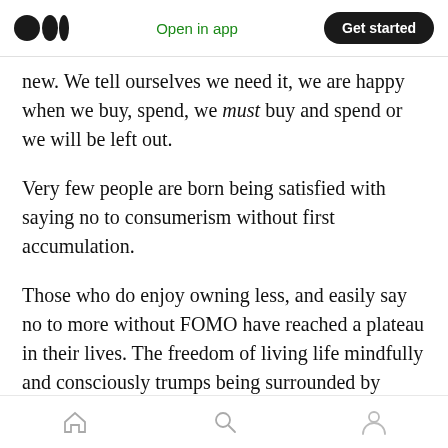Medium logo | Open in app | Get started
new. We tell ourselves we need it, we are happy when we buy, spend, we must buy and spend or we will be left out.
Very few people are born being satisfied with saying no to consumerism without first accumulation.
Those who do enjoy owning less, and easily say no to more without FOMO have reached a plateau in their lives. The freedom of living life mindfully and consciously trumps being surrounded by things and stimuli.
Home | Search | Profile